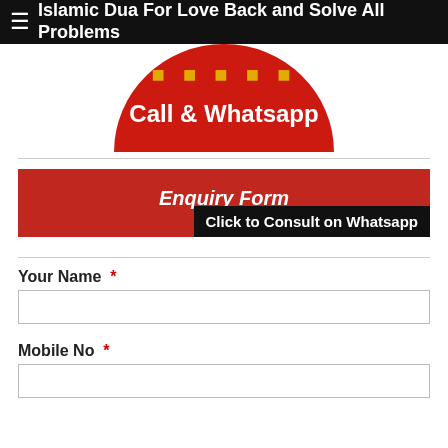≡ Islamic Dua For Love Back and Solve All Problems
[Figure (illustration): Partial red circle graphic with yellow text at top and white bold text 'Call & Whatsapp' in center, cropped at top of visible area]
Enquiry Form
Click to Consult on Whatsapp
Your Name *
Mobile No *